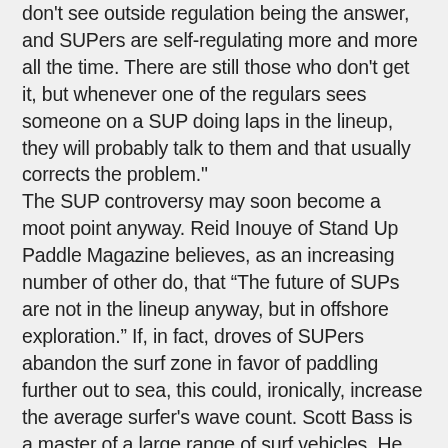don't see outside regulation being the answer, and SUPers are self-regulating more and more all the time. There are still those who don't get it, but whenever one of the regulars sees someone on a SUP doing laps in the lineup, they will probably talk to them and that usually corrects the problem." The SUP controversy may soon become a moot point anyway. Reid Inouye of Stand Up Paddle Magazine believes, as an increasing number of other do, that “The future of SUPs are not in the lineup anyway, but in offshore exploration.” If, in fact, droves of SUPers abandon the surf zone in favor of paddling further out to sea, this could, ironically, increase the average surfer's wave count. Scott Bass is a master of a large range of surf vehicles. He has been SUPing for over ten years, but has basically quit, except in small conditions, or to accommodate his sometimes aching back. Bass feels that the SUP dilemma will resolve itself over time, but